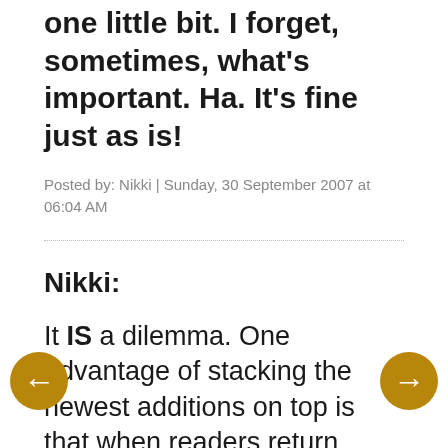one little bit. I forget, sometimes, what's important. Ha. It's fine just as is!
Posted by: Nikki | Sunday, 30 September 2007 at 06:04 AM
Nikki:
It IS a dilemma. One advantage of stacking the newest additions on top is that when readers return, they don't need to click around too much to find the latest. And it saves me the time of adding and subtracting little "New"